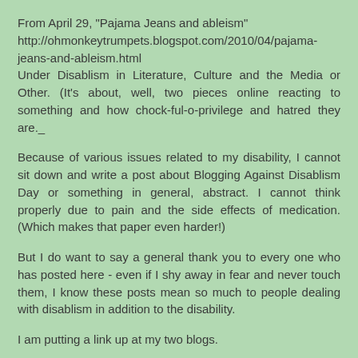From April 29, "Pajama Jeans and ableism" http://ohmonkeytrumpets.blogspot.com/2010/04/pajama-jeans-and-ableism.html Under Disablism in Literature, Culture and the Media or Other. (It's about, well, two pieces online reacting to something and how chock-ful-o-privilege and hatred they are._
Because of various issues related to my disability, I cannot sit down and write a post about Blogging Against Disablism Day or something in general, abstract. I cannot think properly due to pain and the side effects of medication. (Which makes that paper even harder!)
But I do want to say a general thank you to every one who has posted here - even if I shy away in fear and never touch them, I know these posts mean so much to people dealing with disablism in addition to the disability.
I am putting a link up at my two blogs.
Reply